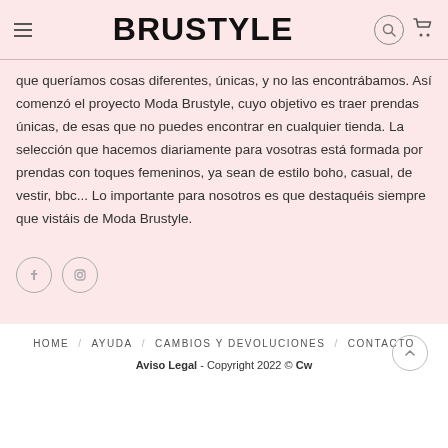BRUSTYLE
que queríamos cosas diferentes, únicas, y no las encontrábamos. Así comenzó el proyecto Moda Brustyle, cuyo objetivo es traer prendas únicas, de esas que no puedes encontrar en cualquier tienda. La selección que hacemos diariamente para vosotras está formada por prendas con toques femeninos, ya sean de estilo boho, casual, de vestir, bbc... Lo importante para nosotros es que destaquéis siempre que vistáis de Moda Brustyle.
[Figure (other): Social media icons: Facebook and Instagram circle icons]
HOME / AYUDA / CAMBIOS Y DEVOLUCIONES / CONTACTO
Aviso Legal - Copyright 2022 © Cw